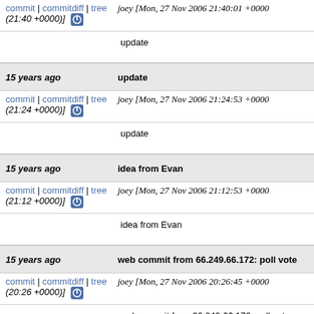commit | commitdiff | tree   joey [Mon, 27 Nov 2006 21:40:01 +0000 (21:40 +0000)]
update
15 years ago   update
commit | commitdiff | tree   joey [Mon, 27 Nov 2006 21:24:53 +0000 (21:24 +0000)]
update
15 years ago   idea from Evan
commit | commitdiff | tree   joey [Mon, 27 Nov 2006 21:12:53 +0000 (21:12 +0000)]
idea from Evan
15 years ago   web commit from 66.249.66.172: poll vote
commit | commitdiff | tree   joey [Mon, 27 Nov 2006 20:26:45 +0000 (20:26 +0000)]
web commit from 66.249.66.172: poll vote
15 years ago   web commit from 91.6.229.110: poll vote